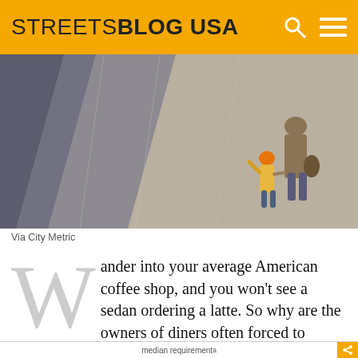STREETSBLOG USA
[Figure (photo): Aerial view of two people walking along a wide concrete walkway or plaza — an adult and a small child in an orange hat holding hands, viewed from above.]
Via City Metric
Wander into your average American coffee shop, and you won't see a sedan ordering a latte. So why are the owners of diners often forced to devote the majority of the land upon which their business sits to the storage of privately owned vehicles, rather than cafe tables and kitchen space?
[Figure (other): Partial view of a chart with text 'median requirement' visible at the bottom of the page.]